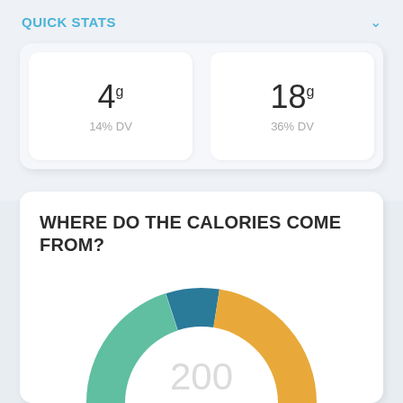QUICK STATS
4g
14% DV
18g
36% DV
WHERE DO THE CALORIES COME FROM?
[Figure (donut-chart): A half donut chart showing calorie breakdown with 200 calories total. Segments in teal/green, dark teal, and golden yellow colors representing different macronutrients.]